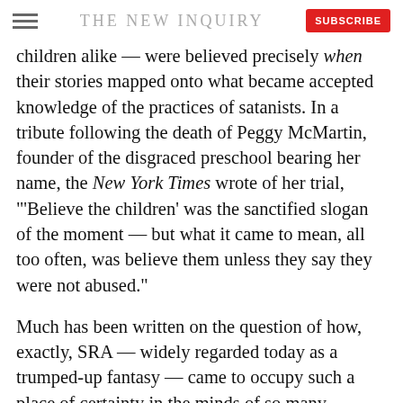THE NEW INQUIRY
children alike — were believed precisely when their stories mapped onto what became accepted knowledge of the practices of satanists. In a tribute following the death of Peggy McMartin, founder of the disgraced preschool bearing her name, the New York Times wrote of her trial, "'Believe the children' was the sanctified slogan of the moment — but what it came to mean, all too often, was believe them unless they say they were not abused."
Much has been written on the question of how, exactly, SRA — widely regarded today as a trumped-up fantasy — came to occupy such a place of certainty in the minds of so many